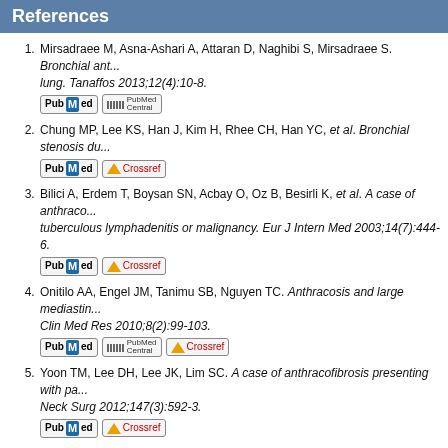References
Mirsadraee M, Asna-Ashari A, Attaran D, Naghibi S, Mirsadraee S. Bronchial anthracofibrosis: An increasingly diagnosed disease. Tanaffos 2013;12(4):10-8.
Chung MP, Lee KS, Han J, Kim H, Rhee CH, Han YC, et al. Bronchial stenosis due to anthracofibrosis.
Bilici A, Erdem T, Boysan SN, Acbay O, Oz B, Besirli K, et al. A case of anthracofibrosis mimicking tuberculous lymphadenitis or malignancy. Eur J Intern Med 2003;14(7):444-6.
Onitilo AA, Engel JM, Tanimu SB, Nguyen TC. Anthracosis and large mediastinal mass. Clin Med Res 2010;8(2):99-103.
Yoon TM, Lee DH, Lee JK, Lim SC. A case of anthracofibrosis presenting with parapharyngeal mass. Neck Surg 2012;147(3):592-3.
Choi SN, Kim TH, Kim HJ, Ha CY, Min HJ, Jung WT, et al. Esophageal anthracofibrosis presenting as submucosal tumor. Gastrointest Endosc 2010;72(3):651-3.
Cserni G. Misidentification of an axillary sentinel lymph node due to anthracosis. B...
Kim PN, Park JE, Kong MJ, Yu GC, Kim YH, Han SG, et al. Endobronchial...